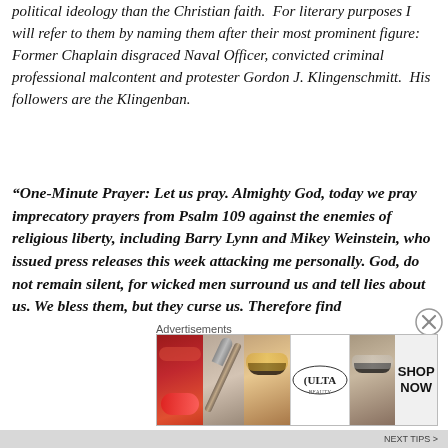political ideology than the Christian faith.  For literary purposes I will refer to them by naming them after their most prominent figure:  Former Chaplain disgraced Naval Officer, convicted criminal professional malcontent and protester Gordon J. Klingenschmitt.  His followers are the Klingenban.
“One-Minute Prayer: Let us pray. Almighty God, today we pray imprecatory prayers from Psalm 109 against the enemies of religious liberty, including Barry Lynn and Mikey Weinstein, who issued press releases this week attacking me personally. God, do not remain silent, for wicked men surround us and tell lies about us. We bless them, but they curse us. Therefore find
Advertisements
[Figure (photo): Ulta Beauty advertisement banner showing close-up images of lips with red lipstick, a makeup brush, eyes with dramatic makeup, the Ulta Beauty logo, more eye close-ups, and a 'SHOP NOW' call to action.]
NEXT TIPS >